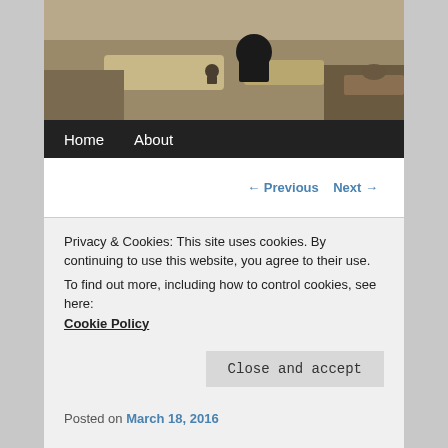[Figure (photo): Outdoor mountain landscape photo showing a person sitting on rocky terrain with a small stuffed animal or figurine nearby, under sunlit conditions.]
Home   About
← Previous   Next →
Guest travel review: mountain
Privacy & Cookies: This site uses cookies. By continuing to use this website, you agree to their use.
To find out more, including how to control cookies, see here:
Cookie Policy
Close and accept
Posted on March 18, 2016